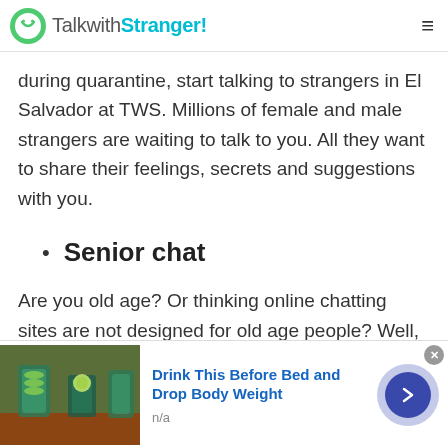TalkwithStranger!
during quarantine, start talking to strangers in El Salvador at TWS. Millions of female and male strangers are waiting to talk to you. All they want to share their feelings, secrets and suggestions with you.
Senior chat
Are you old age? Or thinking online chatting sites are not designed for old age people? Well, if you are assuming this then remember it's not the case. Talkwithstranger app is the best available platform
[Figure (screenshot): Advertisement banner: 'Drink This Before Bed and Drop Body Weight' with image of drinks and a navigation arrow button. Close button in corner.]